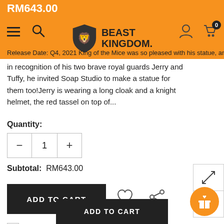RM643.00
[Figure (logo): Beast Kingdom logo with lion shield emblem and text BEAST KINGDOM]
Release Date: Q4, 2021 King of the Mice was so pleased with his statue, and in recognition of his two brave royal guards Jerry and Tuffy, he invited Soap Studio to make a statue for them too!Jerry is wearing a long cloak and a knight helmet, the red tassel on top of...
Quantity:
Subtotal:  RM643.00
ADD TO CART
I agree with the Terms & conditions
BUY IT NOW
ADD TO CART